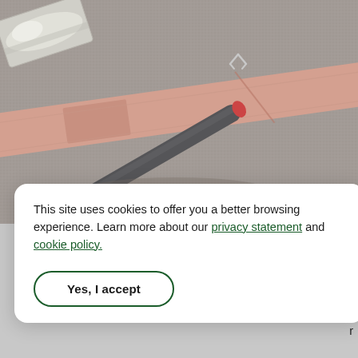[Figure (photo): Close-up photograph of a medical bandage strip or wound closure strip being applied or demonstrated, with a metallic tool or instrument visible, placed on a gray surface. A foil packet is visible in the upper left corner.]
This site uses cookies to offer you a better browsing experience. Learn more about our privacy statement and cookie policy.